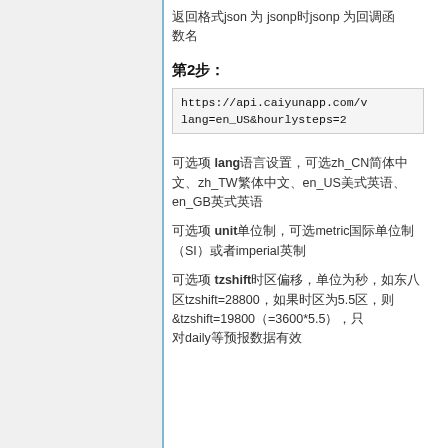返回格式json 为 jsonp时jsonp 为回调函数名
第2步：
https://api.caiyunapp.com/v…lang=en_US&hourlysteps=2
可选项 lang语言设置，可选zh_CN简体中文、zh_TW繁体中文、en_US美式英语、en_GB英式英语
可选项 unit单位制，可选metric国际单位制（SI）或者imperial英制
可选项 tzshift时区偏移，单位为秒，如东八区tzshift=28800，如果时区为5.5区，则&tzshift=19800（=3600*5.5），只对daily等预报数据有效